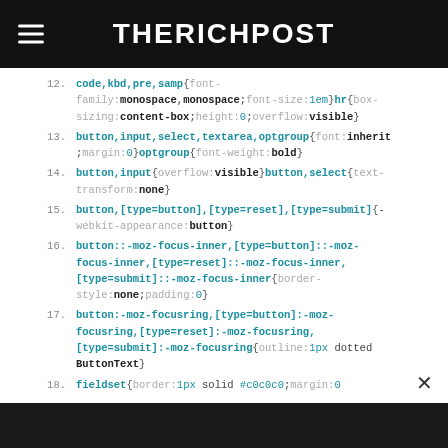THERICHPOST
12. code,kbd,pre,samp{font-family:monospace,monospace;font-size:1em}hr{box-sizing:content-box;height:0;overflow:visible}
13. button,input,select,textarea,optgroup{font:inherit;margin:0}optgroup{font-weight:bold}
14. button,input{overflow:visible}button,select{text-transform:none}
15. button,[type=button],[type=reset],[type=submit]{-webkit-appearance:button}
16. button::-moz-focus-inner,[type=button]::-moz-focus-inner,[type=reset]::-moz-focus-inner,[type=submit]::-moz-focus-inner{border-style:none;padding:0}
17. button:-moz-focusring,[type=button]:-moz-focusring,[type=reset]:-moz-focusring,[type=submit]:-moz-focusring{outline:1px dotted ButtonText}
18. fieldset{border:1px solid #c0c0c0;margin:0